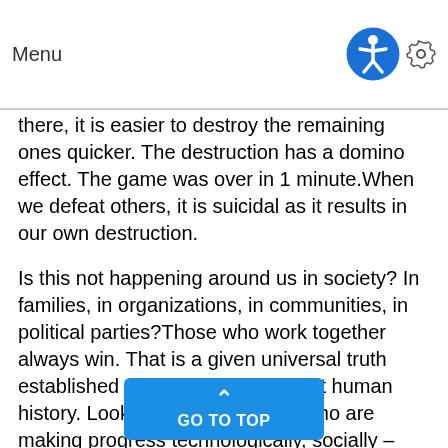Menu
there, it is easier to destroy the remaining ones quicker. The destruction has a domino effect. The game was over in 1 minute.When we defeat others, it is suicidal as it results in our own destruction.
Is this not happening around us in society? In families, in organizations, in communities, in political parties?Those who work together always win. That is a given universal truth established and proven throughout human history. Look at all the countries who are making progress technologically, socially – some in spite of the lack of natural resources, adverse climate, barren land, lack of agriculture, and scarcity of water.And look at those countries which are devastated with p mortality rate, chaotic social situatio very high natural